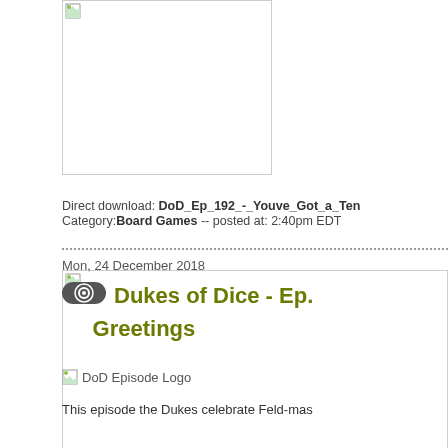[Figure (screenshot): Broken image placeholder box, top area, partially visible]
[Figure (screenshot): Broken image placeholder box, larger, second image area]
Direct download: DoD_Ep_192_-_Youve_Got_a_Ten  Category:Board Games -- posted at: 2:40pm EDT
Mon, 24 December 2018
Dukes of Dice - Ep. Greetings
[Figure (screenshot): DoD Episode Logo - broken image with alt text]
This episode the Dukes celebrate Feld-mas